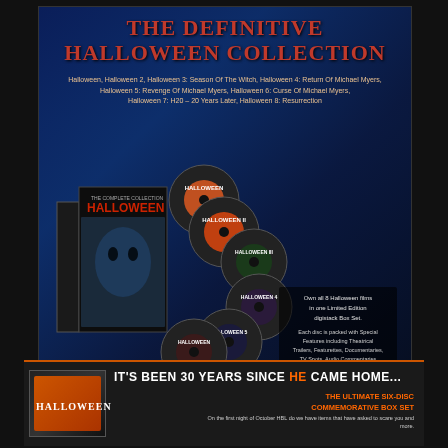The Definitive Halloween Collection
Halloween, Halloween 2, Halloween 3: Season Of The Witch, Halloween 4: Return Of Michael Myers, Halloween 5: Revenge Of Michael Myers, Halloween 6: Curse Of Michael Myers, Halloween 7: H20 - 20 Years Later, Halloween 8: Resurrection
[Figure (photo): DVD box set and multiple discs for the Halloween Complete Collection, shown fanned out with box cover featuring Michael Myers mask]
Own all 8 Halloween films in one Limited Edition digistack Box Set.

Each disc is packed with Special Features including Theatrical Trailers, Featurettes, Documentaries, TV Spots, Audio Commentaries and much much more.
For more information go to www.anchorbay.co.uk/halloween
8 Disc DVD Box Set Available From 4th October At
HMV Virgin WH Smith
IT'S BEEN 30 YEARS SINCE HE CAME HOME...
THE ULTIMATE SIX-DISC COMMEMORATIVE BOX SET
HALLOWEEN
On the first night of October HBL do we have items that have asked to scare you and more.